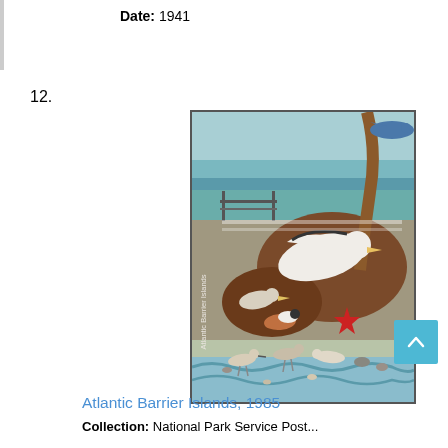Date: 1941
12.
[Figure (illustration): National Park Service poster for Atlantic Barrier Islands (1985), showing stylized shorebirds, seagulls, a red starfish, and coastal vegetation in muted greens, browns, and blues with a mid-century modern illustration style. Title text 'Atlantic Barrier Islands' appears vertically on the left side of the image.]
Atlantic Barrier Islands, 1985
Collection: National Park Service Post...